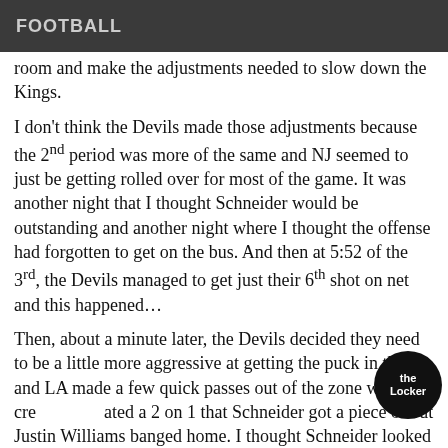FOOTBALL
room and make the adjustments needed to slow down the Kings.
I don't think the Devils made those adjustments because the 2nd period was more of the same and NJ seemed to just be getting rolled over for most of the game. It was another night that I thought Schneider would be outstanding and another night where I thought the offense had forgotten to get on the bus. And then at 5:52 of the 3rd, the Devils managed to get just their 6th shot on net and this happened…
Then, about a minute later, the Devils decided they need to be a little more aggressive at getting the puck in the net and LA made a few quick passes out of the zone which created a 2 on 1 that Schneider got a piece of but Justin Williams banged home. I thought Schneider looked a little pissed after that and I have a feeling that once after getting scored on…